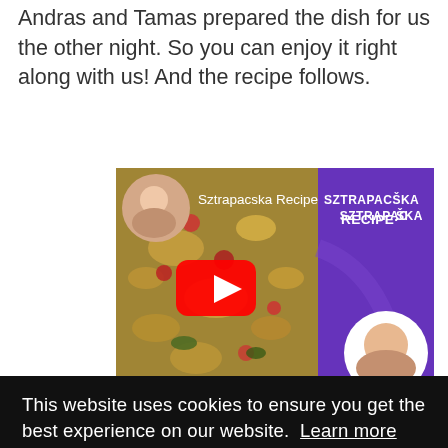Andras and Tamas prepared the dish for us the other night. So you can enjoy it right along with us! And the recipe follows.
[Figure (screenshot): YouTube video thumbnail for 'Sztrapacska Recipe' showing a food image with cheese and toppings on the left, a purple panel with the title 'SZTRAPACSKA RECIPE' and a woman's portrait on the right, with a large red YouTube play button in the center.]
This website uses cookies to ensure you get the best experience on our website.  Learn more
Got it!
1 1/2 cups curd cheese or feta cheese